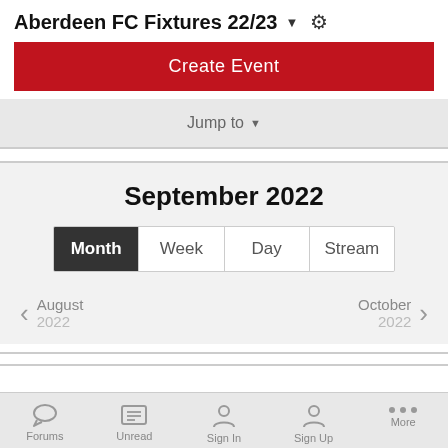Aberdeen FC Fixtures 22/23
Create Event
Jump to
September 2022
Month | Week | Day | Stream
August 2022 < | October 2022 >
Forums | Unread | Sign In | Sign Up | More